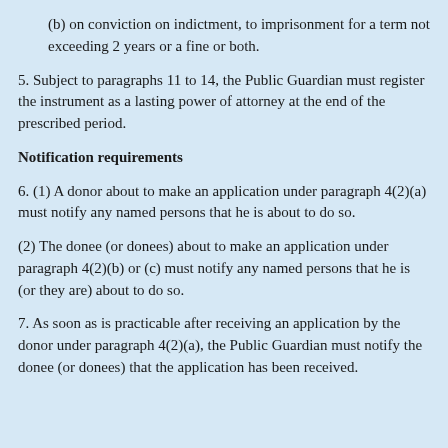(b) on conviction on indictment, to imprisonment for a term not exceeding 2 years or a fine or both.
5. Subject to paragraphs 11 to 14, the Public Guardian must register the instrument as a lasting power of attorney at the end of the prescribed period.
Notification requirements
6. (1) A donor about to make an application under paragraph 4(2)(a) must notify any named persons that he is about to do so.
(2) The donee (or donees) about to make an application under paragraph 4(2)(b) or (c) must notify any named persons that he is (or they are) about to do so.
7. As soon as is practicable after receiving an application by the donor under paragraph 4(2)(a), the Public Guardian must notify the donee (or donees) that the application has been received.